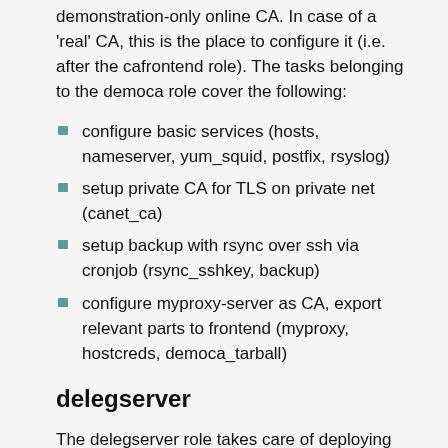demonstration-only online CA. In case of a 'real' CA, this is the place to configure it (i.e. after the cafrontend role). The tasks belonging to the democa role cover the following:
configure basic services (hosts, nameserver, yum_squid, postfix, rsyslog)
setup private CA for TLS on private net (canet_ca)
setup backup with rsync over ssh via cronjob (rsync_sshkey, backup)
configure myproxy-server as CA, export relevant parts to frontend (myproxy, hostcreds, democa_tarball)
delegserver
The delegserver role takes care of deploying and configuring the Delegation Server and its dependencies once the rest is setup. The tasks belonging to the delegserver role cover the following:
finalize setup for communication with